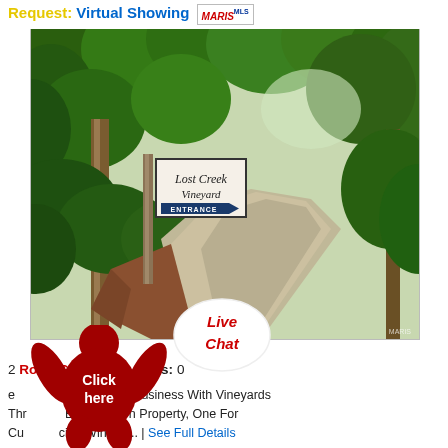Request: Virtual Showing MARIS MLS
[Figure (photo): Entrance to Lost Creek Vineyard, showing a wooden sign post with a sign reading 'Lost Creek Vineyard' and an arrow sign reading 'ENTRANCE', set along a winding gravel road lined with lush green trees.]
[Figure (infographic): Live Chat bubble overlay with red figure icon and 'Click here' text]
Road $3,200,000 Beds: 0
ning Winery Business With Vineyards Thr Buildings On Property, One For Cu cing Winery ... | See Full Details